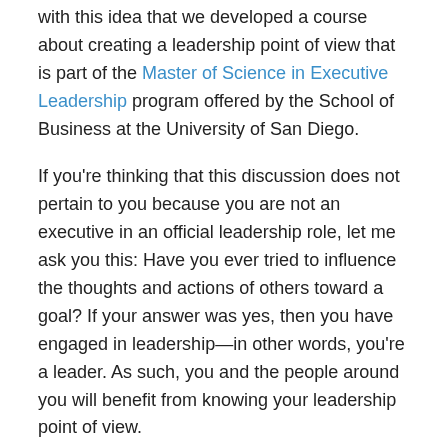with this idea that we developed a course about creating a leadership point of view that is part of the Master of Science in Executive Leadership program offered by the School of Business at the University of San Diego.
If you're thinking that this discussion does not pertain to you because you are not an executive in an official leadership role, let me ask you this: Have you ever tried to influence the thoughts and actions of others toward a goal? If your answer was yes, then you have engaged in leadership—in other words, you're a leader. As such, you and the people around you will benefit from knowing your leadership point of view.
Creating Your Leadership Point of View
Developing your leadership point of view is a process that goes through three basic steps: